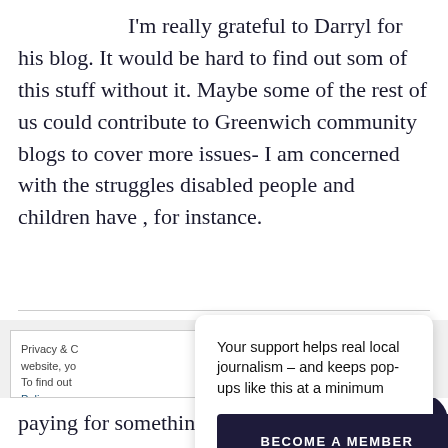I'm really grateful to Darryl for his blog. It would be hard to find out som of this stuff without it. Maybe some of the rest of us could contribute to Greenwich community blogs to cover more issues- I am concerned with the struggles disabled people and children have , for instance.
Your support helps real local journalism – and keeps pop-ups like this at a minimum
BECOME A MEMBER
Privacy & C website, yo To find out Policy
paying for something that I don't get